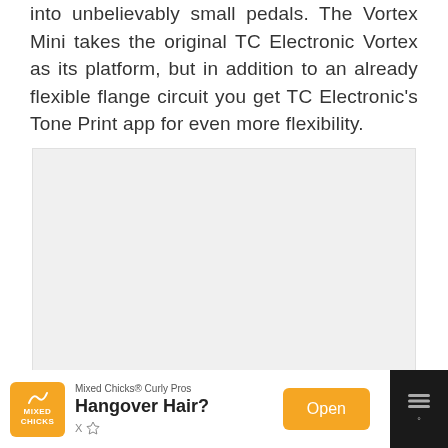into unbelievably small pedals. The Vortex Mini takes the original TC Electronic Vortex as its platform, but in addition to an already flexible flange circuit you get TC Electronic's Tone Print app for even more flexibility.
[Figure (photo): A blank/empty light gray rectangular image placeholder]
[Figure (other): Advertisement banner for Mixed Chicks Curly Pros - Hangover Hair? with an Open button]